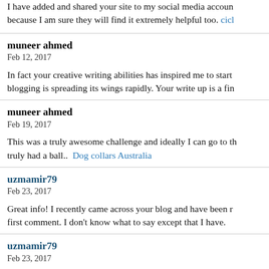I have added and shared your site to my social media accounts because I am sure they will find it extremely helpful too. cicl
muneer ahmed
Feb 12, 2017

In fact your creative writing abilities has inspired me to start blogging is spreading its wings rapidly. Your write up is a fin
muneer ahmed
Feb 19, 2017

This was a truly awesome challenge and ideally I can go to th truly had a ball..  Dog collars Australia
uzmamir79
Feb 23, 2017

Great info! I recently came across your blog and have been r first comment. I don't know what to say except that I have.
uzmamir79
Feb 23, 2017

Great info! I recently came across your blog and have been r